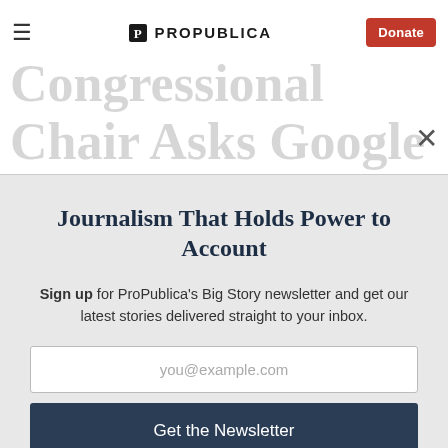ProPublica — Congressional Chair Asks Google and Apple to Help Stop Fraud Against U.S.
Journalism That Holds Power to Account
Sign up for ProPublica's Big Story newsletter and get our latest stories delivered straight to your inbox.
you@example.com
Get the Newsletter
No thanks, I'm all set
This site is protected by reCAPTCHA and the Google Privacy Policy and Terms of Service apply.